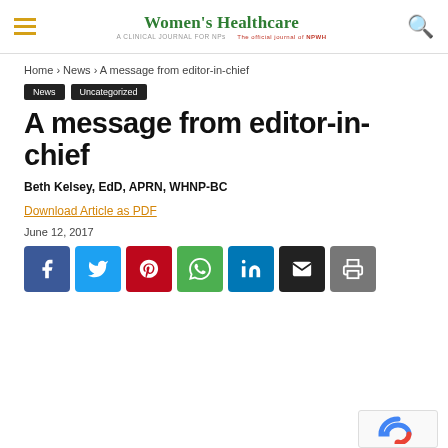Women's Healthcare — A Clinical Journal for NPs
Home › News › A message from editor-in-chief
News  Uncategorized
A message from editor-in-chief
Beth Kelsey, EdD, APRN, WHNP-BC
Download Article as PDF
June 12, 2017
[Figure (infographic): Social sharing buttons: Facebook, Twitter, Pinterest, WhatsApp, LinkedIn, Email, Print]